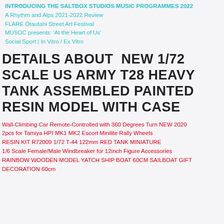INTRODUCING THE SALTBOX STUDIOS MUSIC PROGRAMMES 2022
A Rhythm and Alps 2021-2022 Review
FLARE Ōtautahi Street Art Festival
MUSOC presents: 'At the Heart of Us'
Social Sport | In Vitro / Ex Vitro
DETAILS ABOUT  NEW 1/72 SCALE US ARMY T28 HEAVY TANK ASSEMBLED PAINTED RESIN MODEL WITH CASE
Wall-Climbing Car Remote-Controlled with 360 Degrees Turn NEW 2020
2pcs for Tamiya HPI MK1 MK2 Escort Minilite Rally Wheels
RESIN KIT R72009 1/72 T-44 122mm RED TANK MINIATURE
1/6 Scale Female/Male Windbreaker for 12inch Figure Accessories
RAINBOW WOODEN MODEL YATCH SHIP BOAT 60CM SAILBOAT GIFT DECORATION 60cm